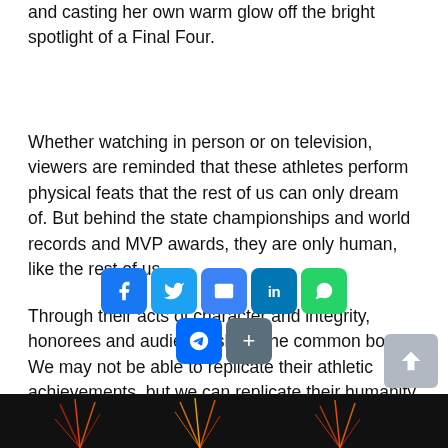and casting her own warm glow off the bright spotlight of a Final Four.
Whether watching in person or on television, viewers are reminded that these athletes perform physical feats that the rest of us can only dream of. But behind the state championships and world records and MVP awards, they are only human, like the rest of us.
Through their acts of character and integrity, honorees and audience share the common bond. We may not be able to replicate their athletic achievements, but we can replicate their humanity.
[Figure (screenshot): Social media sharing buttons: Facebook, Twitter, Email, LinkedIn, WhatsApp in top row; Messenger and More (+) in second row. A scroll-to-top button appears at bottom right.]
[Figure (photo): A dark image strip at the bottom showing fireworks or colorful lights against a dark background.]